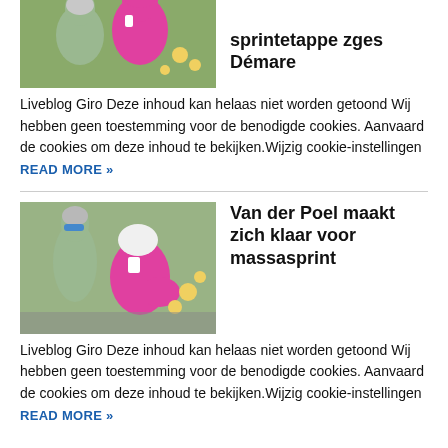[Figure (photo): Cyclists racing, one wearing a pink jersey, partially cropped at top]
sprintetappe zges Démare
Liveblog Giro Deze inhoud kan helaas niet worden getoond Wij hebben geen toestemming voor de benodigde cookies. Aanvaard de cookies om deze inhoud te bekijken.Wijzig cookie-instellingen READ MORE »
[Figure (photo): Cyclists racing, Van der Poel in pink jersey leaning forward, other riders around]
Van der Poel maakt zich klaar voor massasprint
Liveblog Giro Deze inhoud kan helaas niet worden getoond Wij hebben geen toestemming voor de benodigde cookies. Aanvaard de cookies om deze inhoud te bekijken.Wijzig cookie-instellingen READ MORE »